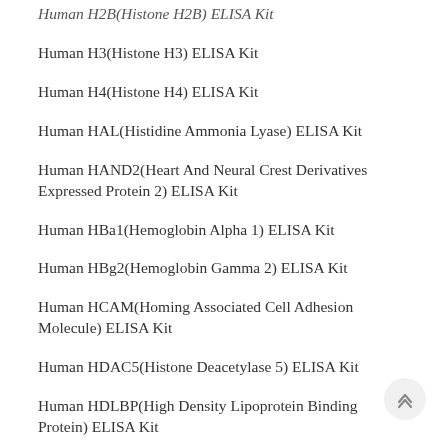Human H2B(Histone H2B) ELISA Kit
Human H3(Histone H3) ELISA Kit
Human H4(Histone H4) ELISA Kit
Human HAL(Histidine Ammonia Lyase) ELISA Kit
Human HAND2(Heart And Neural Crest Derivatives Expressed Protein 2) ELISA Kit
Human HBa1(Hemoglobin Alpha 1) ELISA Kit
Human HBg2(Hemoglobin Gamma 2) ELISA Kit
Human HCAM(Homing Associated Cell Adhesion Molecule) ELISA Kit
Human HDAC5(Histone Deacetylase 5) ELISA Kit
Human HDLBP(High Density Lipoprotein Binding Protein) ELISA Kit
Human Hepc(Hepcidin) ELISA Kit